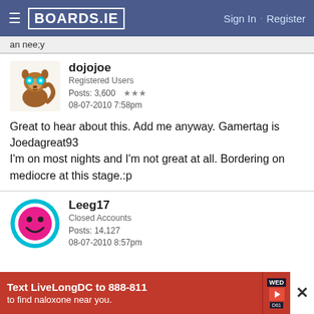BOARDS.IE · Sign In · Register
an nee;y
dojojoe
Registered Users
Posts: 3,600 ★★★
08-07-2010 7:58pm
Great to hear about this. Add me anyway. Gamertag is Joedagreat93
I'm on most nights and I'm not great at all. Bordering on mediocre at this stage.:p
Leeg17
Closed Accounts
Posts: 14,127
08-07-2010 8:57pm
[Figure (infographic): Advertisement: Text LiveLongDC to 888-811 to find naloxone near you.]